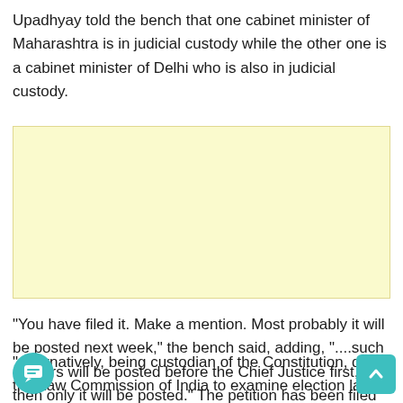Upadhyay told the bench that one cabinet minister of Maharashtra is in judicial custody while the other one is a cabinet minister of Delhi who is also in judicial custody.
[Figure (other): Advertisement placeholder block with light yellow background]
"You have filed it. Make a mention. Most probably it will be posted next week," the bench said, adding, "....such matters will be posted before the Chief Justice first, then only it will be posted." The petition has been filed through advocate Ashwani Kumar Dubey.
"Alternatively, being custodian of the Constitution, direct the Law Commission of India to examine election laws of developed countries and prepare a comprehensive report to maintain nobility, dignity of